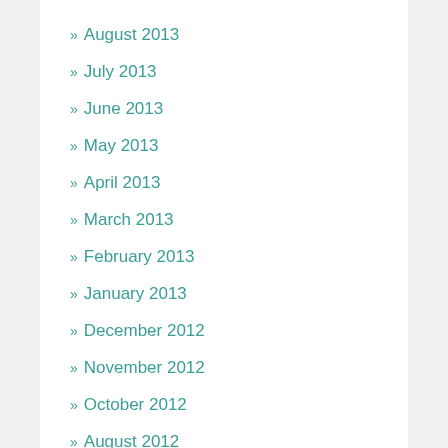» August 2013
» July 2013
» June 2013
» May 2013
» April 2013
» March 2013
» February 2013
» January 2013
» December 2012
» November 2012
» October 2012
» August 2012
» July 2012
» June 2012
» May 2012